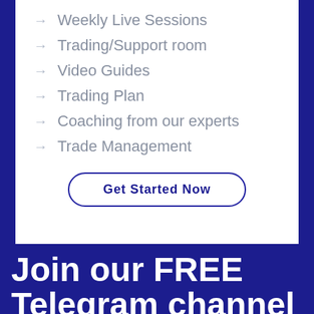Weekly Live Sessions
Trading/Support room
Video Guides
Trading Plan
Coaching from our experts
Trade Management
Get Started Now
Join our FREE Telegram channel